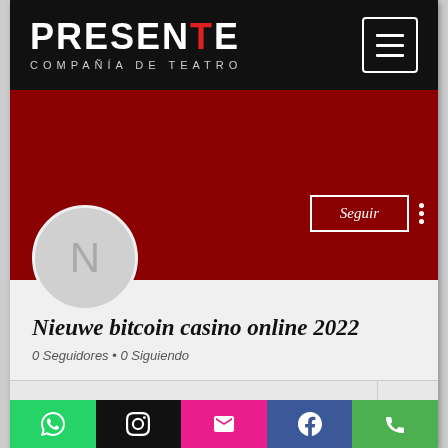PRESENTE COMPAÑÍA DE TEATRO
[Figure (screenshot): User profile page of 'Nieuwe bitcoin casino online 2022' on a website with dark red banner, avatar initial N, follow button, 0 Seguidores, 0 Siguiendo, Perfil section, and social media bar at bottom (WhatsApp, Instagram, Email, Facebook, Phone)]